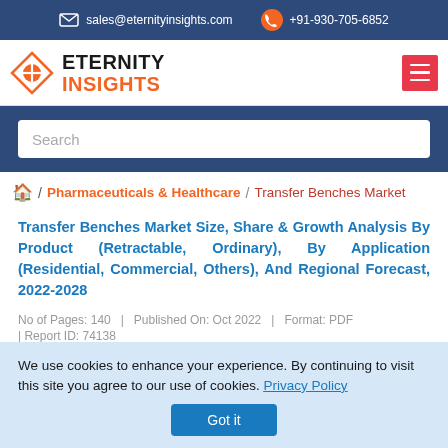sales@eternityinsights.com  +91-930-705-6852
[Figure (logo): Eternity Insights logo with diamond shape icon and company name]
Search
Home / Pharmaceuticals & Healthcare / Transfer Benches Market
Transfer Benches Market Size, Share & Growth Analysis By Product (Retractable, Ordinary), By Application (Residential, Commercial, Others), And Regional Forecast, 2022-2028
No of Pages: 140   |   Published On: Oct 2022   |   Format: PDF
| Report ID: 74138
We use cookies to enhance your experience. By continuing to visit this site you agree to our use of cookies. Privacy Policy
Got it